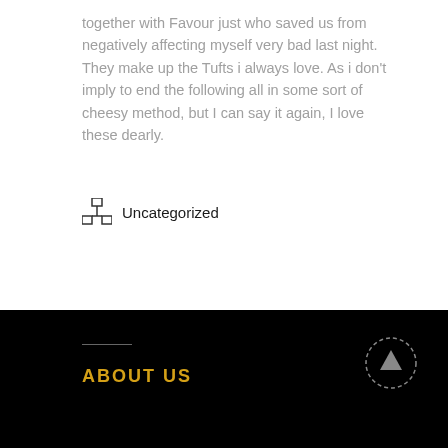together with Favour just who saved us from negatively affecting myself very bad last night. They make up the Tufts i always love. As i don't imply to end the following all in some sort of cheesy method, but I can say it again, I love these dearly.
Uncategorized
ABOUT US